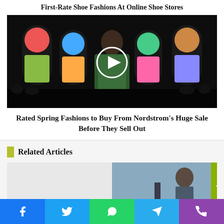First-Rate Shoe Fashions At Online Shoe Stores
[Figure (photo): Fashion runway video thumbnail showing a model in colorful outfit on a dark runway with stained-glass window backdrops and a play button overlay]
Rated Spring Fashions to Buy From Nordstrom's Huge Sale Before They Sell Out
Related Articles
[Figure (photo): Partial related article thumbnail showing a person in winter clothing outdoors]
Social share bar with Facebook, Twitter, WhatsApp, Telegram, Phone icons